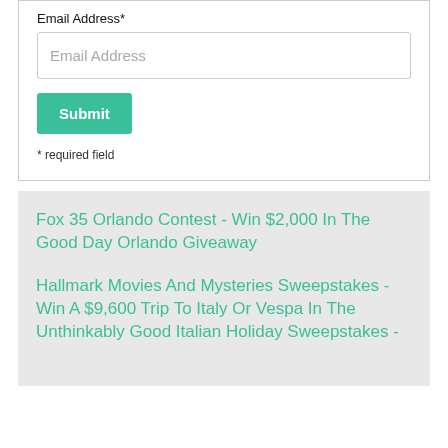Email Address*
Email Address
Submit
* required field
Fox 35 Orlando Contest - Win $2,000 In The Good Day Orlando Giveaway
Hallmark Movies And Mysteries Sweepstakes - Win A $9,600 Trip To Italy Or Vespa In The Unthinkably Good Italian Holiday Sweepstakes -